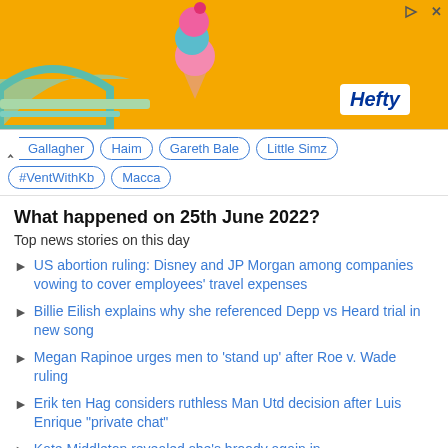[Figure (illustration): Orange Hefty advertisement banner with ice cream cone graphic and Hefty logo in white box, with play and close icons in top right]
Noel Gallagher
Haim
Gareth Bale
Little Simz
#VentWithKb
Macca
What happened on 25th June 2022?
Top news stories on this day
US abortion ruling: Disney and JP Morgan among companies vowing to cover employees' travel expenses
Billie Eilish explains why she referenced Depp vs Heard trial in new song
Megan Rapinoe urges men to 'stand up' after Roe v. Wade ruling
Erik ten Hag considers ruthless Man Utd decision after Luis Enrique "private chat"
Kate Middleton revealed she's broody again in Cambridge